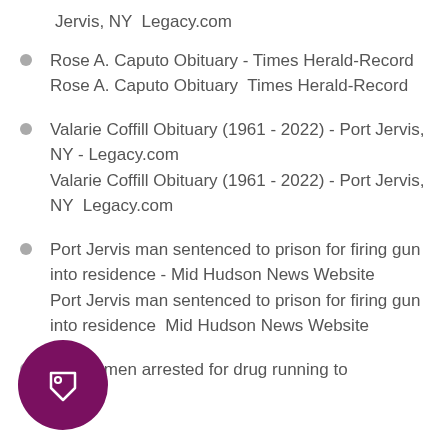Jervis, NY  Legacy.com
Rose A. Caputo Obituary - Times Herald-Record
Rose A. Caputo Obituary  Times Herald-Record
Valarie Coffill Obituary (1961 - 2022) - Port Jervis, NY - Legacy.com
Valarie Coffill Obituary (1961 - 2022) - Port Jervis, NY  Legacy.com
Port Jervis man sentenced to prison for firing gun into residence - Mid Hudson News Website
Port Jervis man sentenced to prison for firing gun into residence  Mid Hudson News Website
on, NJ men arrested for drug running to
[Figure (illustration): Purple/maroon circular badge icon with a price tag/label symbol in white outline]